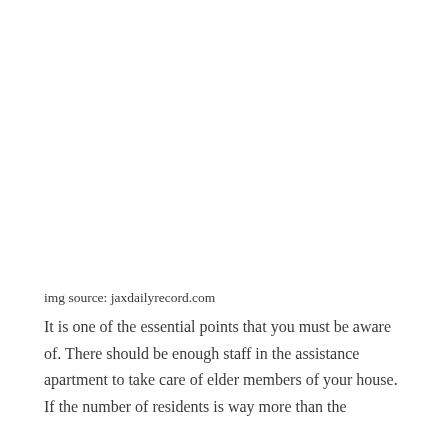img source: jaxdailyrecord.com
It is one of the essential points that you must be aware of. There should be enough staff in the assistance apartment to take care of elder members of your house. If the number of residents is way more than the